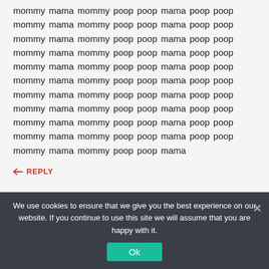mommy mama mommy poop poop mama poop poop mommy mama mommy poop poop mama poop poop mommy mama mommy poop poop mama poop poop mommy mama mommy poop poop mama poop poop mommy mama mommy poop poop mama poop poop mommy mama mommy poop poop mama poop poop mommy mama mommy poop poop mama poop poop mommy mama mommy poop poop mama poop poop mommy mama mommy poop poop mama poop poop mommy mama mommy poop poop mama poop poop mommy mama mommy poop poop mama
REPLY
We use cookies to ensure that we give you the best experience on our website. If you continue to use this site we will assume that you are happy with it.